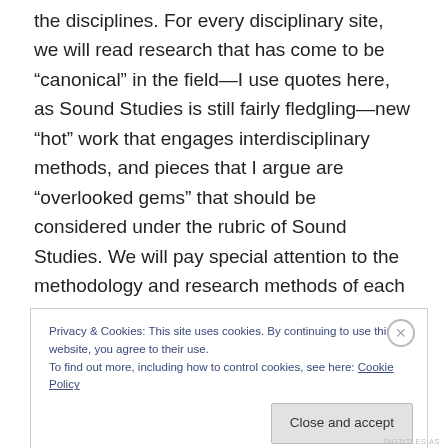the disciplines. For every disciplinary site, we will read research that has come to be “canonical” in the field—I use quotes here, as Sound Studies is still fairly fledgling—new “hot” work that engages interdisciplinary methods, and pieces that I argue are “overlooked gems” that should be considered under the rubric of Sound Studies. We will pay special attention to the methodology and research methods of each piece, tracing how the interdisciplinary field of Sound Studies has both challenged traditional disciplines and emerged from them.
Privacy & Cookies: This site uses cookies. By continuing to use this website, you agree to their use.
To find out more, including how to control cookies, see here: Cookie Policy
Close and accept
DIGTITLES.AS